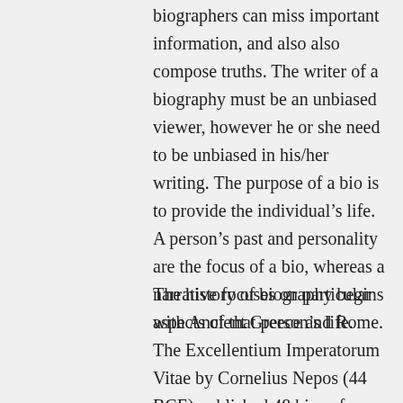biographers can miss important information, and also also compose truths. The writer of a biography must be an unbiased viewer, however he or she need to be unbiased in his/her writing. The purpose of a bio is to provide the individual's life. A person's past and personality are the focus of a bio, whereas a narrative focuses on particular aspects of that person's life.
The history of biography begins with Ancient Greece and Rome. The Excellentium Imperatorum Vitae by Cornelius Nepos (44 BCE) published 48 bios of famous men. In 80 CE, the Greek writer Plutarch published Identical Lives, which consists of a collection of